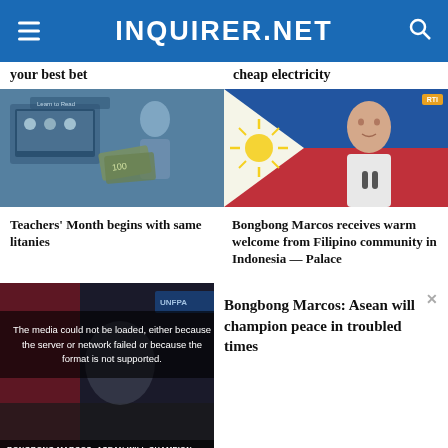INQUIRER.NET
your best bet
cheap electricity
[Figure (photo): Students using laptops and holding money bills in a classroom setting, blue-tinted photo]
[Figure (photo): Bongbong Marcos speaking at a podium with Philippine flag in background, RTL badge visible]
Teachers' Month begins with same litanies
Bongbong Marcos receives warm welcome from Filipino community in Indonesia — Palace
[Figure (screenshot): Video player with error message overlay: 'The media could not be loaded, either because the server or network failed or because the format is not supported.' Text at bottom: 'BONGBONG MARCOS: ASEAN WILL CHAMPION PEACE IN TROUBLED TIMES']
Bongbong Marcos: Asean will champion peace in troubled times